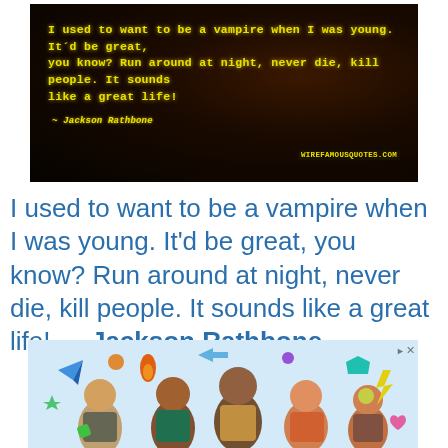[Figure (photo): Quote image on dark background with yellow text reading: 'I used to want to be a vampire when I was young. It'd be great, you know? Run around at night, never die, kill people. It sounds like a great life!' with attribution '- Jackson Rathbone' and watermark 'WIREFAMOUSQUOTES.COM']
I used to want to be a vampire when I was young. It'd be great, you know? Run around at night, never die, kill people. It sounds like a great life! — Jackson Rathbone
[Figure (photo): Advertisement banner showing children with colorful icons and graphics around them]